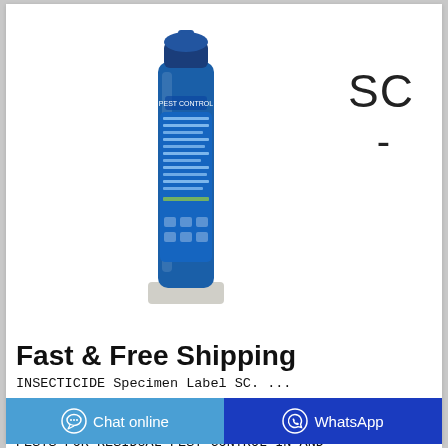[Figure (photo): Blue aerosol insecticide spray can displayed upright on a white surface. Text 'SC' and '-' appear to the right of the product.]
Fast & Free Shipping
INSECTICIDE Specimen Label SC. ... QUESTIONS For questions or comments, call toll-free 1 800 842-8020 www.nobugs STRUCTURAL PESTS FOR RESIDUAL PEST CONTROL IN AND
Chat online
WhatsApp